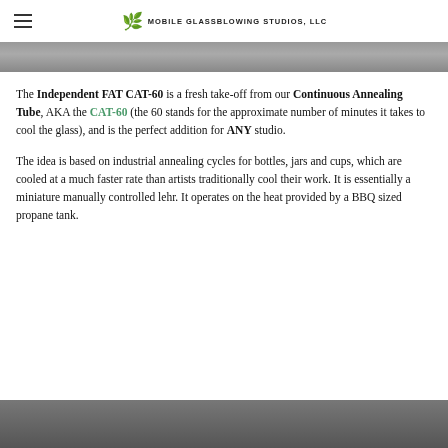MOBILE GLASSBLOWING STUDIOS, LLC
[Figure (photo): Top partial photo, gray/dark background visible at top edge]
The Independent FAT CAT-60 is a fresh take-off from our Continuous Annealing Tube, AKA the CAT-60 (the 60 stands for the approximate number of minutes it takes to cool the glass), and is the perfect addition for ANY studio.
The idea is based on industrial annealing cycles for bottles, jars and cups, which are cooled at a much faster rate than artists traditionally cool their work. It is essentially a miniature manually controlled lehr. It operates on the heat provided by a BBQ sized propane tank.
[Figure (photo): Bottom partial photo showing dark equipment/machinery at bottom edge of page]